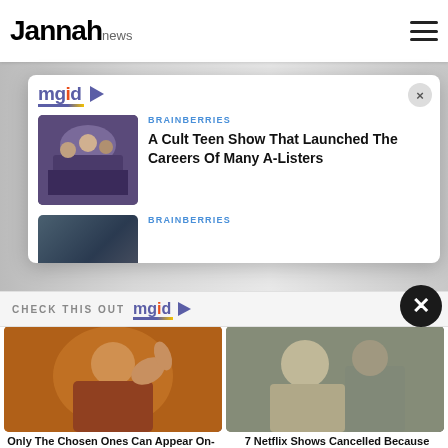Jannah news
[Figure (screenshot): MGID advertisement popup with logo and close button, showing two article cards. First card: BRAINBERRIES - A Cult Teen Show That Launched The Careers Of Many A-Listers. Second card partially visible: BRAINBERRIES.]
CHECK THIS OUT
[Figure (photo): Photo of a person in martial arts pose with golden lighting - article: Only The Chosen Ones Can Appear On-Screen Even After Their Death]
Only The Chosen Ones Can Appear On-Screen Even After Their Death
[Figure (photo): Photo of a woman in prison clothes outdoors - article: 7 Netflix Shows Cancelled Because They Don't Get The Ratings]
7 Netflix Shows Cancelled Because They Don't Get The Ratings